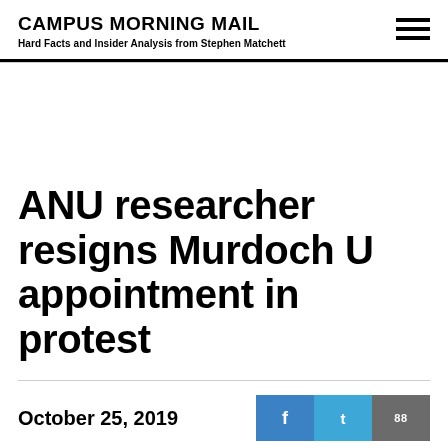CAMPUS MORNING MAIL
Hard Facts and Insider Analysis from Stephen Matchett
ANU researcher resigns Murdoch U appointment in protest
October 25, 2019